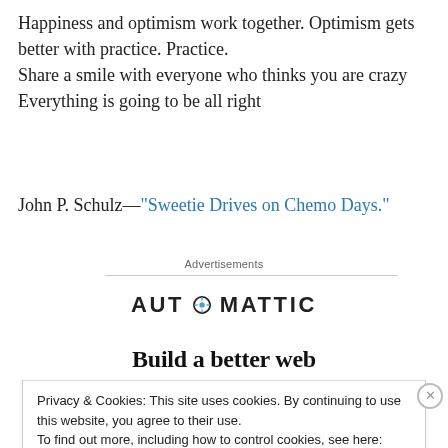Happiness and optimism work together. Optimism gets better with practice. Practice.
Share a smile with everyone who thinks you are crazy
Everything is going to be all right
John P. Schulz—"Sweetie Drives on Chemo Days."
Advertisements
[Figure (logo): Automattic logo with a decorative 'O' containing a compass/target symbol]
Build a better web
Privacy & Cookies: This site uses cookies. By continuing to use this website, you agree to their use.
To find out more, including how to control cookies, see here: Cookie Policy
Close and accept